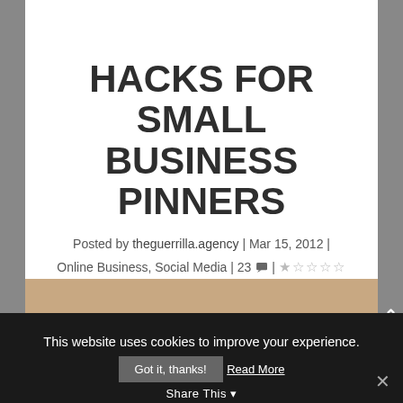HACKS FOR SMALL BUSINESS PINNERS
Posted by theguerrilla.agency | Mar 15, 2012 | Online Business, Social Media | 23 | ☆☆☆☆☆
[Figure (illustration): Pinterest logo text in red italic script on a tan/wood-grain background]
This website uses cookies to improve your experience.
Got it, thanks!  Read More
Share This